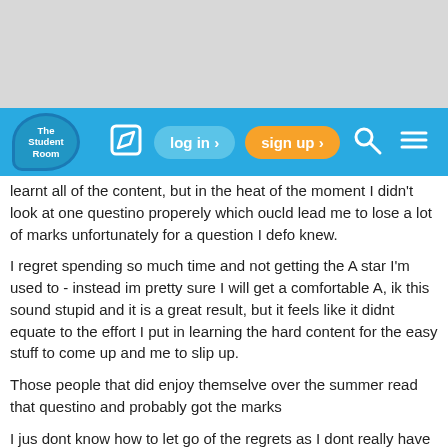[Figure (screenshot): Gray background area at top of page (browser UI)]
The Student Room — navigation bar with log in, sign up, search, and menu icons
learnt all of the content, but in the heat of the moment I didn't look at one questino properely which oucld lead me to lose a lot of marks unfortunately for a question I defo knew. I regret spending so much time and not getting the A star I'm used to - instead im pretty sure I will get a comfortable A, ik this sound stupid and it is a great result, but it feels like it didnt equate to the effort I put in learning the hard content for the easy stuff to come up and me to slip up. Those people that did enjoy themselve over the summer read that questino and probably got the marks I jus dont know how to let go of the regrets as I dont really have anyone to talk to - I talked to my mum and she gave me the general advice which hasnt helped but I dont want to bother her.

It would be very much appreaciated if anyone can give tips for letting go of the past and losing regrest